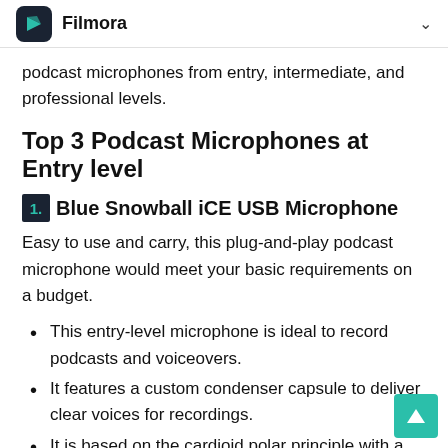Filmora
podcast microphones from entry, intermediate, and professional levels.
Top 3 Podcast Microphones at Entry level
1. Blue Snowball iCE USB Microphone
Easy to use and carry, this plug-and-play podcast microphone would meet your basic requirements on a budget.
This entry-level microphone is ideal to record podcasts and voiceovers.
It features a custom condenser capsule to deliver clear voices for recordings.
It is based on the cardioid polar principle with a